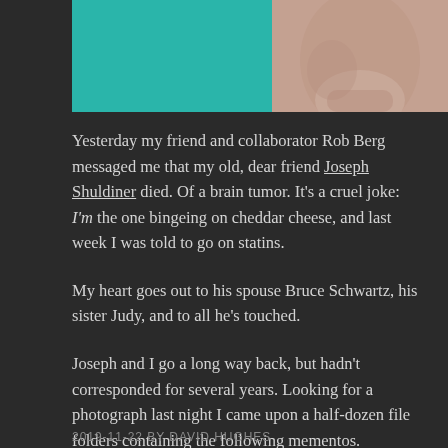[Figure (photo): Banner image with teal/turquoise left panel and a close-up photograph of a person's face (lower portion) on the right, dark border around the image block.]
Yesterday my friend and collaborator Rob Berg messaged me that my old, dear friend Joseph Shuldiner died. Of a brain tumor. It’s a cruel joke: I’m the one bingeing on cheddar cheese, and last week I was told to go on statins.
My heart goes out to his spouse Bruce Schwartz, his sister Judy, and to all he’s touched.
Joseph and I go a long way back, but hadn’t corresponded for several years. Looking for a photograph last night I came upon a half-dozen file folders containing the following mementos.
Continue reading
2019-11-22 BY DAVID HUGHES